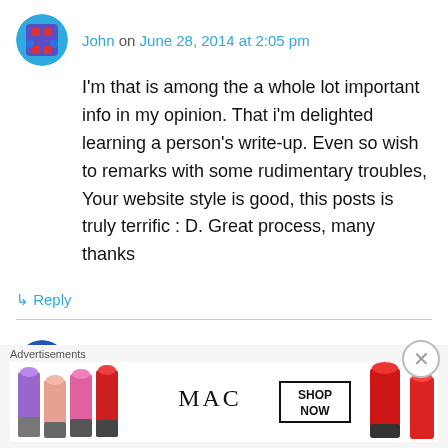John on June 28, 2014 at 2:05 pm
I'm that is among the a whole lot important info in my opinion. That i'm delighted learning a person's write-up. Even so wish to remarks with some rudimentary troubles, Your website style is good, this posts is truly terrific : D. Great process, many thanks
↳ Reply
Bitcoins Store on August 11, 2014 at 4:32 am
This is my first time visit at here and i am really
Advertisements
[Figure (photo): MAC cosmetics advertisement showing lipsticks with SHOP NOW button]